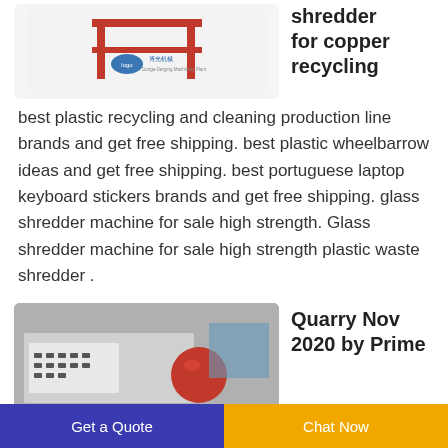[Figure (photo): Red industrial shredder machine frame with a company logo and text in Chinese]
shredder for copper recycling
best plastic recycling and cleaning production line brands and get free shipping. best plastic wheelbarrow ideas and get free shipping. best portuguese laptop keyboard stickers brands and get free shipping. glass shredder machine for sale high strength. Glass shredder machine for sale high strength plastic waste shredder .
[Figure (photo): Industrial shredder or grinding machine in a factory setting, with red and grey components]
Quarry Nov 2020 by Prime
Get a Quote   Chat Now